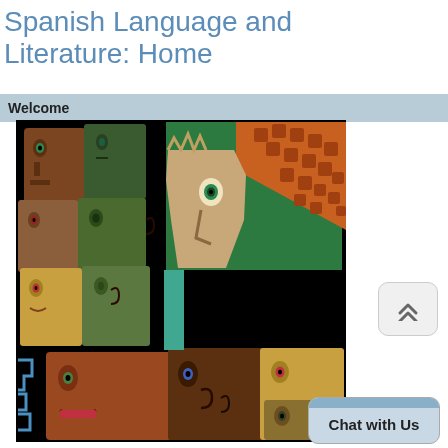Spanish Language and Literature: Home
Welcome
[Figure (illustration): Colorful stylized illustration of multiple diverse faces in a cubist/mosaic style against a black background, with faces in brown, tan, green, yellow, and orange tones]
Chat with Us